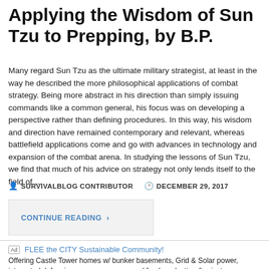Applying the Wisdom of Sun Tzu to Prepping, by B.P.
Many regard Sun Tzu as the ultimate military strategist, at least in the way he described the more philosophical applications of combat strategy. Being more abstract in his direction than simply issuing commands like a common general, his focus was on developing a perspective rather than defining procedures. In this way, his wisdom and direction have remained contemporary and relevant, whereas battlefield applications come and go with advances in technology and expansion of the combat arena. In studying the lessons of Sun Tzu, we find that much of his advice on strategy not only lends itself to the field of …
SURVIVALBLOG CONTRIBUTOR   DECEMBER 29, 2017
CONTINUE READING ›
Ad  FLEE the CITY Sustainable Community!
Offering Castle Tower homes w/ bunker basements, Grid & Solar power, integrated defensive measures, communal food production & private